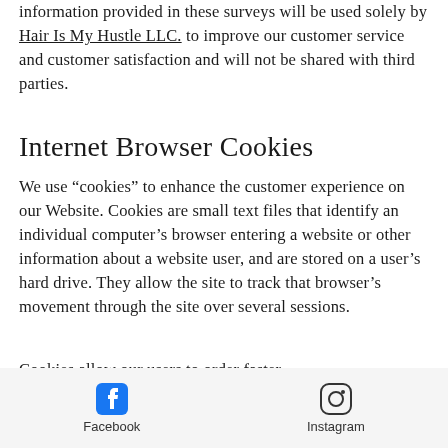information provided in these surveys will be used solely by Hair Is My Hustle LLC. to improve our customer service and customer satisfaction and will not be shared with third parties.
Internet Browser Cookies
We use “cookies” to enhance the customer experience on our Website. Cookies are small text files that identify an individual computer’s browser entering a website or other information about a website user, and are stored on a user’s hard drive. They allow the site to track that browser’s movement through the site over several sessions.
Cookies allow our users to order faster and more efficiently, by storing
Facebook   Instagram